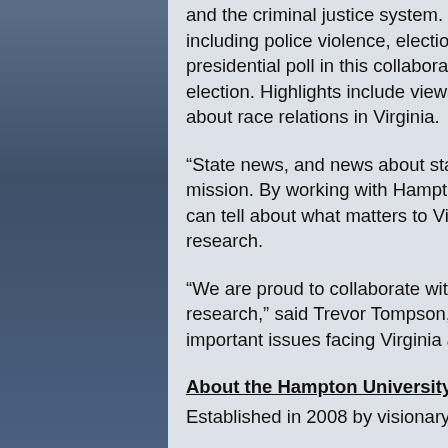and the criminal justice system. Opinions varied from respondents on other public policy issues including police violence, election security, gun control and confederate statues. The second presidential poll in this collaboration is to be released on Monday, Oct. 26 prior to the presidential election. Highlights include views on the current Supreme Court nomination process and attitudes about race relations in Virginia.
“State news, and news about state government and politics, has long been a part of AP’s core mission. By working with Hampton, the AP-NORC Center adds to what we know and the stories we can tell about what matters to Virginians,” said Emily Swanson, AP’s director of public opinion research.
“We are proud to collaborate with Hampton University on conducting high-quality public opinion research,” said Trevor Tompson, director of the AP-NORC Center. “These studies will look at important issues facing Virginia and provide timely insights to the public, media, and researchers.”
About the Hampton University Center for Public Policy
Established in 2008 by visionary Hampton University President, Dr. William R. Harvey, the HU Center for Public Policy is the…